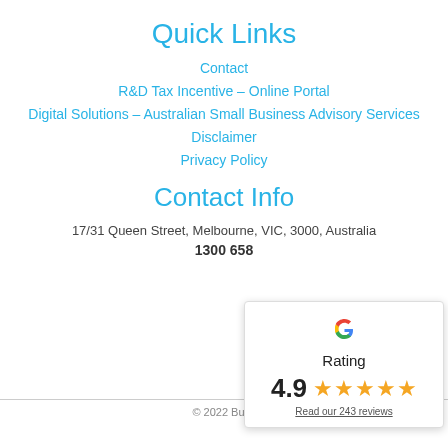Quick Links
Contact
R&D Tax Incentive – Online Portal
Digital Solutions – Australian Small Business Advisory Services
Disclaimer
Privacy Policy
Contact Info
17/31 Queen Street, Melbourne, VIC, 3000, Australia
1300 658
[Figure (infographic): Google Rating popup showing a G logo, the word 'Rating', a score of 4.9, five gold stars, and a link 'Read our 243 reviews']
© 2022 Bulle